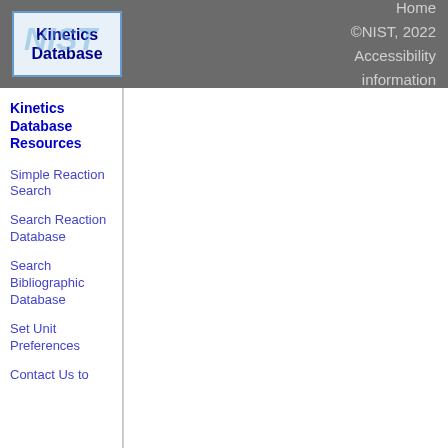Home ©NIST, 2022 Accessibility information
[Figure (logo): NIST Kinetics Database logo — blue bordered box with 'Kinetics Database' text in bold dark blue and italic 'NIST' watermark in light blue]
Kinetics Database Resources
Simple Reaction Search
Search Reaction Database
Search Bibliographic Database
Set Unit Preferences
Contact Us to